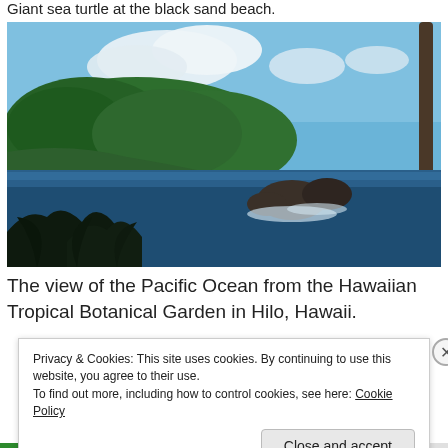Giant sea turtle at the black sand beach.
[Figure (photo): Coastal tropical landscape showing rocky outcroppings in the Pacific Ocean, with lush green forested hills, blue sky with clouds, and dark silhouetted tropical plants in the foreground. Taken from the Hawaiian Tropical Botanical Garden in Hilo, Hawaii.]
The view of the Pacific Ocean from the Hawaiian Tropical Botanical Garden in Hilo, Hawaii.
Privacy & Cookies: This site uses cookies. By continuing to use this website, you agree to their use.
To find out more, including how to control cookies, see here: Cookie Policy